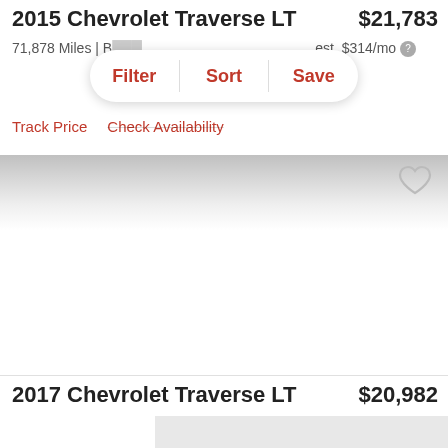2015 Chevrolet Traverse LT
$21,783
71,878 Miles | B...
est. $314/mo
Filter | Sort | Save
Track Price   Check Availability
[Figure (screenshot): Gray gradient band with heart icon, vehicle listing image area (white/blank)]
2017 Chevrolet Traverse LT
$20,982
[Figure (photo): Light gray placeholder image for second listing]